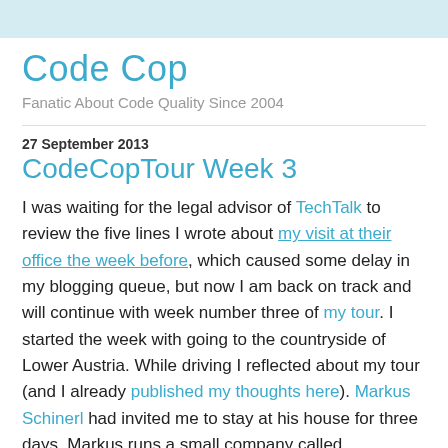Code Cop
Fanatic About Code Quality Since 2004
27 September 2013
CodeCopTour Week 3
I was waiting for the legal advisor of TechTalk to review the five lines I wrote about my visit at their office the week before, which caused some delay in my blogging queue, but now I am back on track and will continue with week number three of my tour. I started the week with going to the countryside of Lower Austria. While driving I reflected about my tour (and I already published my thoughts here). Markus Schinerl had invited me to stay at his house for three days. Markus runs a small company called sdguide.org which is specialized in calculating metrics like the carbon footprint for factories in the pulp and paper industry. Pulp and paper is a very competitive industry and customers like governments